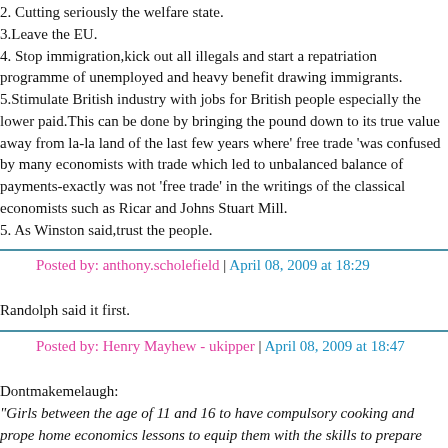2. Cutting seriously the welfare state.
3.Leave the EU.
4. Stop immigration,kick out all illegals and start a repatriation programme of unemployed and heavy benefit drawing immigrants.
5.Stimulate British industry with jobs for British people especially the lower paid.This can be done by bringing the pound down to its true value away from la-la land of the last few years where' free trade 'was confused by many economists with trade which led to unbalanced balance of payments-exactly was not 'free trade' in the writings of the classical economists such as Ricardo and Johns Stuart Mill.
5. As Winston said,trust the people.
Posted by: anthony.scholefield | April 08, 2009 at 18:29
Randolph said it first.
Posted by: Henry Mayhew - ukipper | April 08, 2009 at 18:47
Dontmakemelaugh:
"Girls between the age of 11 and 16 to have compulsory cooking and proper home economics lessons to equip them with the skills to prepare wholesome meals for their future family and to understand food better, thus tackling futu...